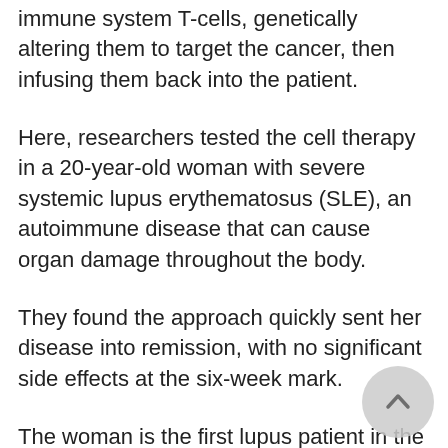immune system T-cells, genetically altering them to target the cancer, then infusing them back into the patient.
Here, researchers tested the cell therapy in a 20-year-old woman with severe systemic lupus erythematosus (SLE), an autoimmune disease that can cause organ damage throughout the body.
They found the approach quickly sent her disease into remission, with no significant side effects at the six-week mark.
The woman is the first lupus patient in the world to be treated with CAR T-cells, said researcher Dr. Georg Schett of Friedrich-Alexander University Erlangen-Nuremberg in Germany.
That means much more research lies ahead before the